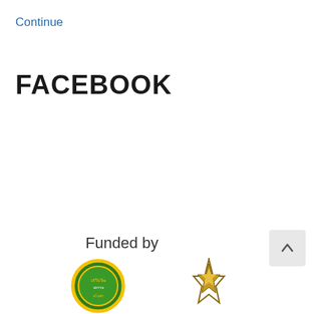Continue
FACEBOOK
Funded by
[Figure (logo): Thai organization logo (green circular badge with Thai script)]
[Figure (logo): Thai organization logo (gold emblem with Thai symbol)]